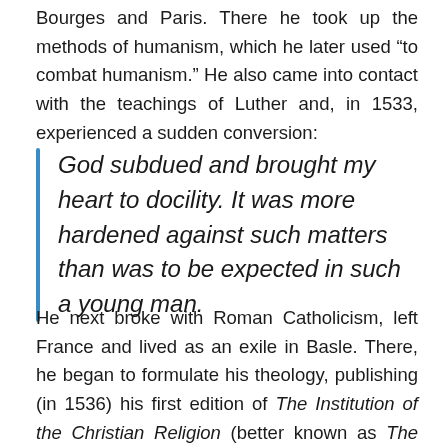Bourges and Paris. There he took up the methods of humanism, which he later used “to combat humanism.” He also came into contact with the teachings of Luther and, in 1533, experienced a sudden conversion:
God subdued and brought my heart to docility. It was more hardened against such matters than was to be expected in such a young man.
He next broke with Roman Catholicism, left France and lived as an exile in Basle. There, he began to formulate his theology, publishing (in 1536) his first edition of The Institution of the Christian Religion (better known as The Institutes). It was a clear, brief defence of Reformation